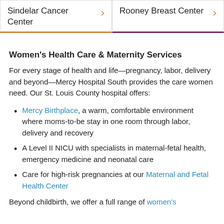[Figure (other): Two navigation cards side by side: 'Sindelar Cancer Center' with orange arrow and orange bottom border, and 'Rooney Breast Center' with orange arrow and purple bottom border]
Women's Health Care & Maternity Services
For every stage of health and life—pregnancy, labor, delivery and beyond—Mercy Hospital South provides the care women need. Our St. Louis County hospital offers:
Mercy Birthplace, a warm, comfortable environment where moms-to-be stay in one room through labor, delivery and recovery
A Level II NICU with specialists in maternal-fetal health, emergency medicine and neonatal care
Care for high-risk pregnancies at our Maternal and Fetal Health Center
Beyond childbirth, we offer a full range of women's